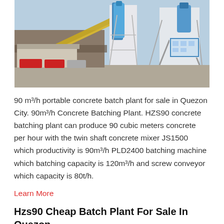[Figure (photo): Industrial concrete batching plant with blue silos, steel framework, conveyor belts, and trucks parked in front, set against a clear sky.]
90 m³/h portable concrete batch plant for sale in Quezon City. 90m³/h Concrete Batching Plant. HZS90 concrete batching plant can produce 90 cubic meters concrete per hour with the twin shaft concrete mixer JS1500 which productivity is 90m³/h PLD2400 batching machine which batching capacity is 120m³/h and screw conveyor which capacity is 80t/h.
Learn More
Hzs90 Cheap Batch Plant For Sale In Quezon